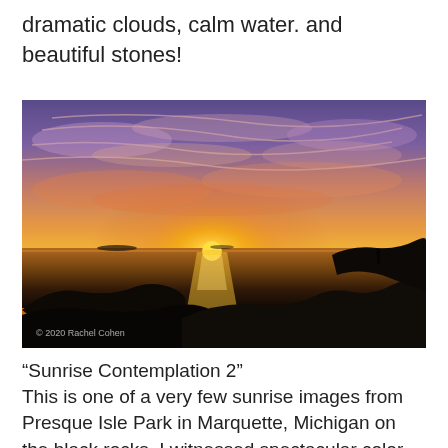dramatic clouds, calm water. and beautiful stones!
[Figure (photo): Landscape photograph of a dramatic sunrise over water with rocky shoreline. The sky is filled with vivid orange, pink, and purple clouds. The sun is rising on the horizon, reflecting on calm water. Dark rocks and silhouettes are in the foreground. A small human silhouette stands on rocks at right. Watermark reads: © 2020 Rachel Cohen]
“Sunrise Contemplation 2”
This is one of a very few sunrise images from Presque Isle Park in Marquette, Michigan on the black rocks. I witnessed spectacular color,